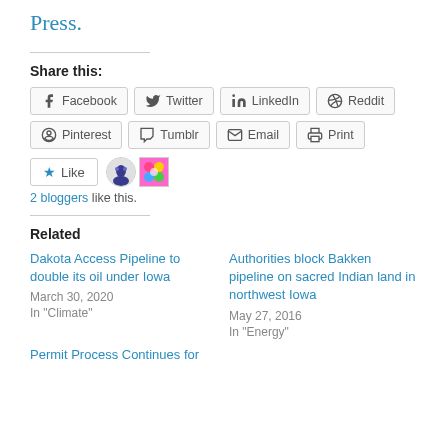Press.
Share this:
Facebook | Twitter | LinkedIn | Reddit | Pinterest | Tumblr | Email | Print
Like
2 bloggers like this.
Related
Dakota Access Pipeline to double its oil under Iowa
March 30, 2020
In "Climate"
Authorities block Bakken pipeline on sacred Indian land in northwest Iowa
May 27, 2016
In "Energy"
Permit Process Continues for